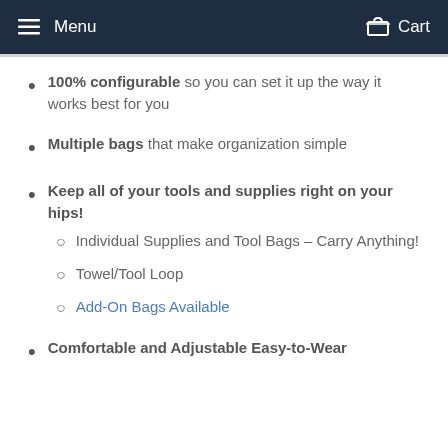Menu   Cart
100% configurable so you can set it up the way it works best for you
Multiple bags that make organization simple
Keep all of your tools and supplies right on your hips! Individual Supplies and Tool Bags – Carry Anything! | Towel/Tool Loop | Add-On Bags Available
Comfortable and Adjustable Easy-to-Wear